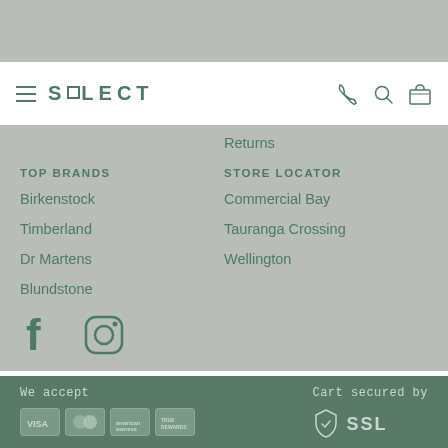SOLECT — navigation bar with hamburger menu, phone, search, and cart icons
Returns
TOP BRANDS
STORE LOCATOR
Birkenstock
Commercial Bay
Timberland
Tauranga Crossing
Dr Martens
Wellington
Blundstone
[Figure (illustration): Facebook and Instagram social media icons]
We accept — Visa, Mastercard, American Express, True Rewards payment icons. Cart secured by SSL.